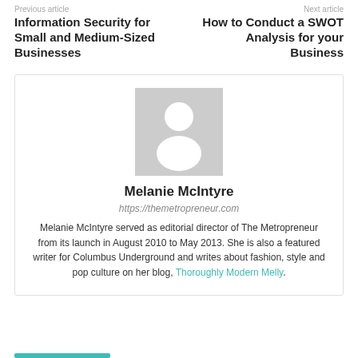Previous article
Next article
Information Security for Small and Medium-Sized Businesses
How to Conduct a SWOT Analysis for your Business
[Figure (illustration): Generic avatar placeholder image — grey square with white silhouette of a person]
Melanie McIntyre
https://themetropreneur.com
Melanie McIntyre served as editorial director of The Metropreneur from its launch in August 2010 to May 2013. She is also a featured writer for Columbus Underground and writes about fashion, style and pop culture on her blog, Thoroughly Modern Melly.